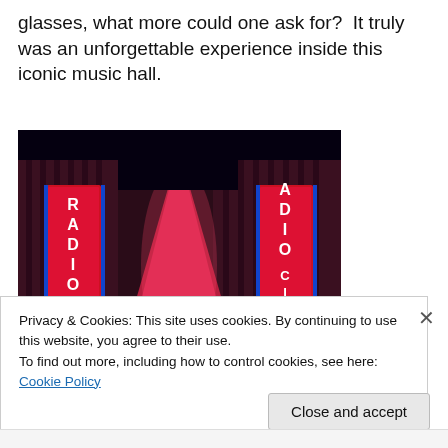glasses, what more could one ask for?  It truly was an unforgettable experience inside this iconic music hall.
[Figure (photo): Nighttime exterior photo of Radio City Music Hall with illuminated red neon signs reading 'RADIO CITY' on both sides and a lit Christmas tree in front.]
Privacy & Cookies: This site uses cookies. By continuing to use this website, you agree to their use.
To find out more, including how to control cookies, see here: Cookie Policy
Close and accept